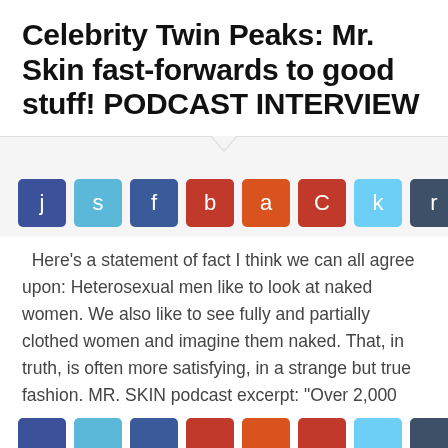Celebrity Twin Peaks: Mr. Skin fast-forwards to good stuff! PODCAST INTERVIEW
[Figure (other): Row of 8 social media share buttons with single letter icons: j (dark blue), s (light blue), f (dark blue), b (red), a (orange-red), C (red), k (light blue), r (dark slate)]
Here's a statement of fact I think we can all agree upon: Heterosexual men like to look at naked women. We also like to see fully and partially clothed women and imagine them naked. That, in truth, is often more satisfying, in a strange but true fashion. MR. SKIN podcast excerpt: "Over 2,000 new...
Continue Reading →
[Figure (other): Partial row of social media share buttons at bottom edge of page, partially cropped]